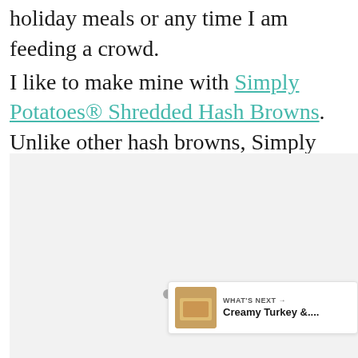holiday meals or any time I am feeding a crowd. I like to make mine with Simply Potatoes® Shredded Hash Browns. Unlike other hash browns, Simply Potatoes are always fresh, never frozen potatoes.
[Figure (photo): Photo image area with light gray background, partially visible at bottom of page. Includes navigation dots, a heart/like button showing 9.5K, a share button, and a 'What's Next' card showing 'Creamy Turkey &...' with a food thumbnail.]